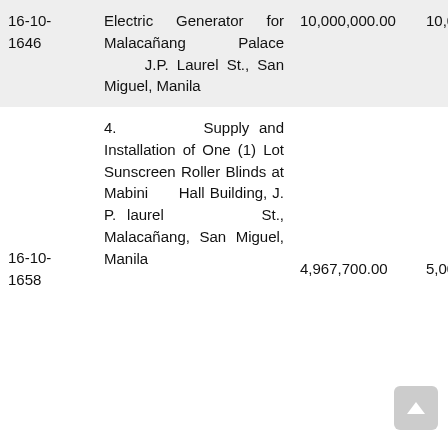| ID | Description | Amount 1 | Amount 2 |
| --- | --- | --- | --- |
| 16-10-1646 | Electric Generator for Malacañang Palace J.P. Laurel St., San Miguel, Manila | 10,000,000.00 | 10,000.00 |
| 16-10-1658 | 4. Supply and Installation of One (1) Lot Sunscreen Roller Blinds at Mabini Hall Building, J. P. laurel St., Malacañang, San Miguel, Manila | 4,967,700.00 | 5,000.00 |